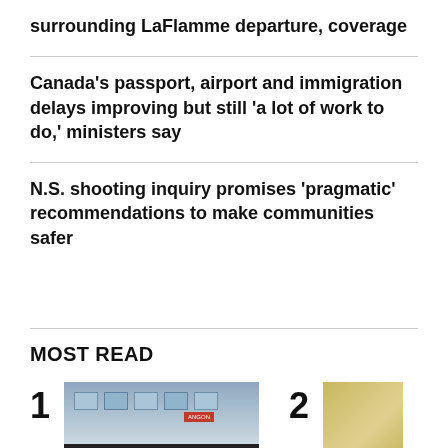surrounding LaFlamme departure, coverage
Canada's passport, airport and immigration delays improving but still 'a lot of work to do,' ministers say
N.S. shooting inquiry promises 'pragmatic' recommendations to make communities safer
MOST READ
[Figure (photo): Photo of a commercial building with storefront signage, numbered 1 in a Most Read list]
[Figure (photo): Partial photo with yellow/gold tones, numbered 2 in a Most Read list]